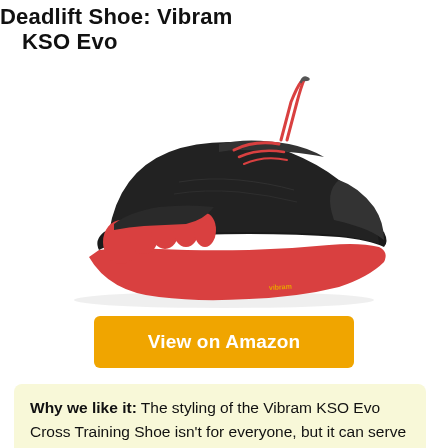Deadlift Shoe: Vibram KSO Evo
[Figure (photo): Vibram KSO Evo five-finger cross training shoe in black with red toe sections, red laces, and red sole, shown from a side-angle view]
View on Amazon
Why we like it: The styling of the Vibram KSO Evo Cross Training Shoe isn't for everyone, but it can serve well for emulating barefoot-style deadlifting while still offering some support and